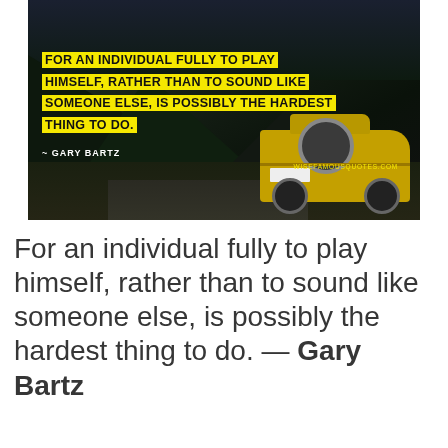[Figure (photo): Dark photograph of a yellow Volkswagen van from the rear, parked on a road with mountain scenery in the background. Overlaid on the photo is a quote in bold black text on yellow highlighted background: 'FOR AN INDIVIDUAL FULLY TO PLAY HIMSELF, RATHER THAN TO SOUND LIKE SOMEONE ELSE, IS POSSIBLY THE HARDEST THING TO DO.' with author attribution '~ GARY BARTZ' and watermark 'WISEFAMOUSQUOTES.COM']
For an individual fully to play himself, rather than to sound like someone else, is possibly the hardest thing to do. — Gary Bartz